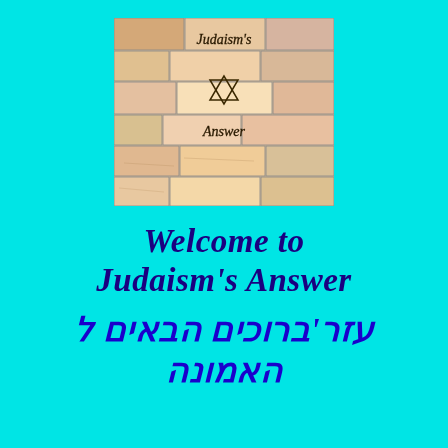[Figure (illustration): Illustration of a stone wall with the text 'Judaism's Answer' and a Star of David drawn on the stones, in warm tan/pink tones]
Welcome to Judaism's Answer
עזר'ברוכים הבאים ל האמונה